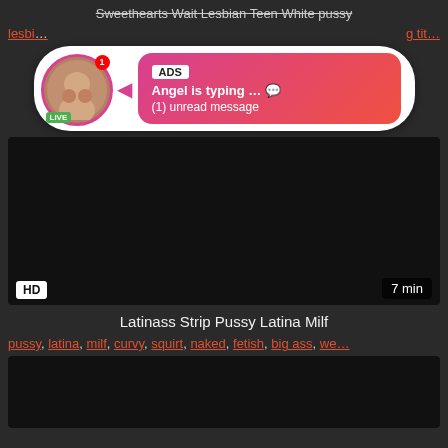Sweethearts Wait Lesbian Teen White pussy
lesbi... g tit...
[Figure (screenshot): Ad overlay bubble with live avatar, ADS label, 'Angel is typing ... (1) unread message' on pink-red gradient background with LIVE badge]
[Figure (screenshot): Dark video thumbnail with HD badge bottom-left and 7 min duration badge bottom-right]
Latinass Strip Pussy Latina Milf
pussy, latina, milf, curvy, squirt, naked, fetish, big ass, we...
[Figure (screenshot): Dark video thumbnail (partially visible, bottom of page)]